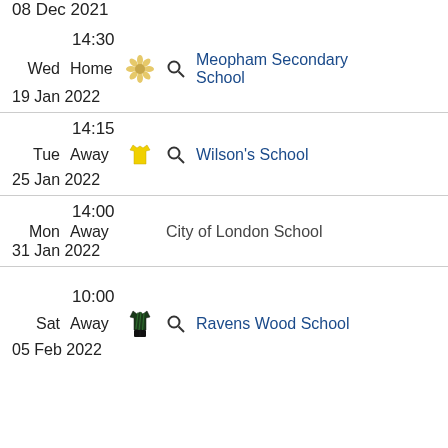08 Dec 2021
14:30 | Wed | Home | Meopham Secondary School | 19 Jan 2022
14:15 | Tue | Away | Wilson's School | 25 Jan 2022
14:00 | Mon | Away | City of London School | 31 Jan 2022
10:00 | Sat | Away | Ravens Wood School | 05 Feb 2022